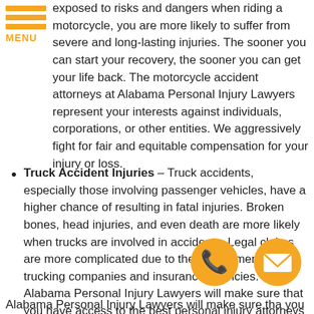[Figure (other): Orange hamburger menu icon with three horizontal bars and MENU label]
exposed to risks and dangers when riding a motorcycle, you are more likely to suffer from severe and long-lasting injuries. The sooner you can start your recovery, the sooner you can get your life back. The motorcycle accident attorneys at Alabama Personal Injury Lawyers represent your interests against individuals, corporations, or other entities. We aggressively fight for fair and equitable compensation for your injury or loss.
Truck Accident Injuries – Truck accidents, especially those involving passenger vehicles, have a higher chance of resulting in fatal injuries. Broken bones, head injuries, and even death are more likely when trucks are involved in accidents. Legal claims are more complicated due to the involvement of trucking companies and insurance agencies. Alabama Personal Injury Lawyers will make sure that you have access to the best personal injury attorneys and legal resources to protect you during legal
Alabama Personal Injury Lawyers will make sure tha you